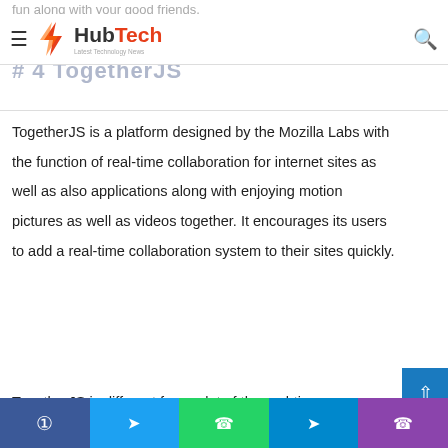fun along with your good friends.
[Figure (logo): HubTech - Latest Technology News logo with lightning bolt icon, hamburger menu on left, search icon on right]
# 4 TogetherJS
TogetherJS is a platform designed by the Mozilla Labs with the function of real-time collaboration for internet sites as well as also applications along with enjoying motion pictures as well as videos together. It encourages its users to add a real-time collaboration system to their sites quickly.
TogetherJS is different from a lot of the real-time
Social share buttons: Facebook, Twitter, WhatsApp, Telegram, Phone